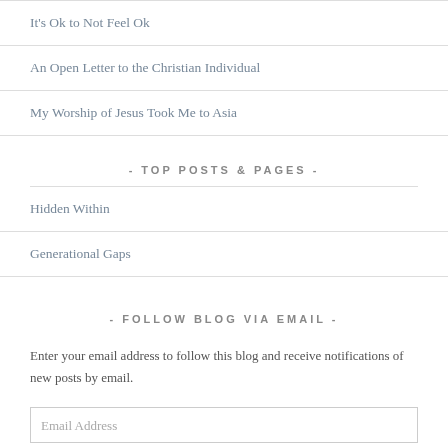It's Ok to Not Feel Ok
An Open Letter to the Christian Individual
My Worship of Jesus Took Me to Asia
- TOP POSTS & PAGES -
Hidden Within
Generational Gaps
- FOLLOW BLOG VIA EMAIL -
Enter your email address to follow this blog and receive notifications of new posts by email.
Email Address